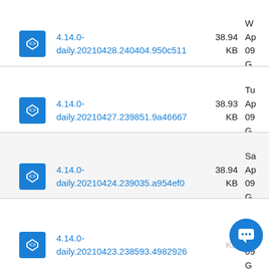4.14.0-daily.20210428.240404.950c511  38.94 KB  W Ap 09 G
4.14.0-daily.20210427.239851.9a46667  38.93 KB  Tu Ap 09 G
4.14.0-daily.20210424.239035.a954ef0  38.94 KB  Sa Ap 09 G
4.14.0-daily.20210423.238593.4982926  KB  Fr Ap 09 G